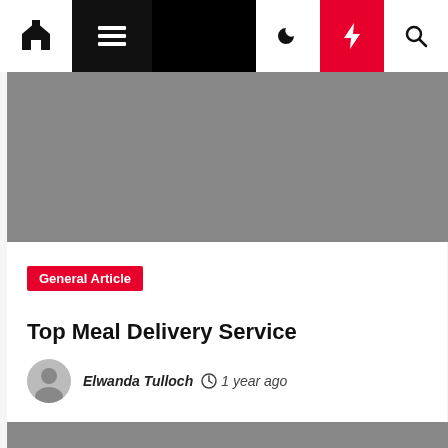[Figure (screenshot): Website navigation bar with home icon, hamburger menu, dark/night mode icon, red lightning bolt button, and search icon on black background]
[Figure (photo): Gray placeholder image banner at top of article]
General Article
Top Meal Delivery Service
Elwanda Tulloch  1 year ago
[Figure (photo): Gray placeholder image banner below article card]